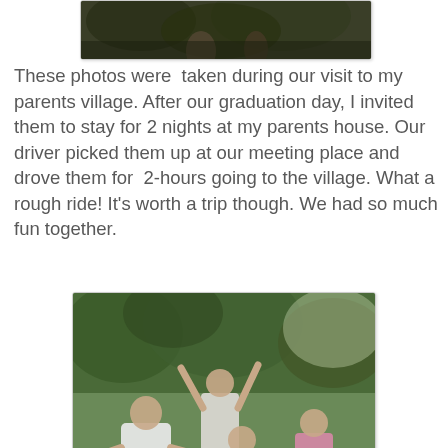[Figure (photo): Top portion of a photo showing people outdoors among trees/vegetation, partially cropped at top of page]
These photos were  taken during our visit to my parents village. After our graduation day, I invited them to stay for 2 nights at my parents house. Our driver picked them up at our meeting place and drove them for  2-hours going to the village. What a rough ride! It's worth a trip though. We had so much fun together.
[Figure (photo): Photo of four people playing in a river with rocks, posing and splashing, surrounded by green trees. One woman in white dress/towel, one with arms raised wearing a t-shirt, one girl in white shirt, one person in pink sitting on rocks.]
Three of them went home the next day. They missed all the fun that we had when we went to have a picnic at the river.
[Figure (photo): Partial bottom photo showing outdoor/nature scene, cropped at bottom of page]